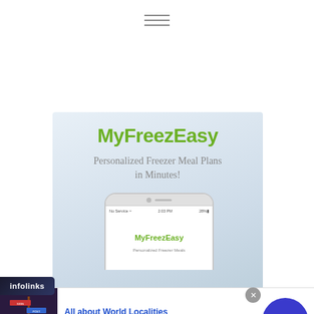≡ (hamburger menu icon)
[Figure (screenshot): MyFreezEasy app promotional banner: green bold text 'MyFreezEasy', grey subtitle 'Personalized Freezer Meal Plans in Minutes!', and a smartphone mockup showing the app]
infolinks
[Figure (photo): Advertisement: 'All about World Localities' with photo of a world-localities sign post, text 'visit helianthusacres.com/ to learn more', URL 'www.helianthusacres.com', and a blue circular arrow button. Close (X) button top right.]